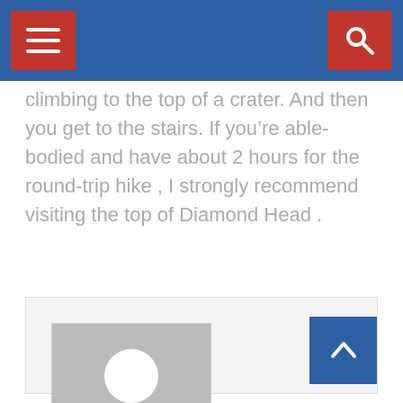climbing to the top of a crater. And then you get to the stairs. If you’re able-bodied and have about 2 hours for the round-trip hike , I strongly recommend visiting the top of Diamond Head .
[Figure (photo): Author profile card with placeholder silhouette photo of RICK RANDALL with email icon below]
RICK RANDALL